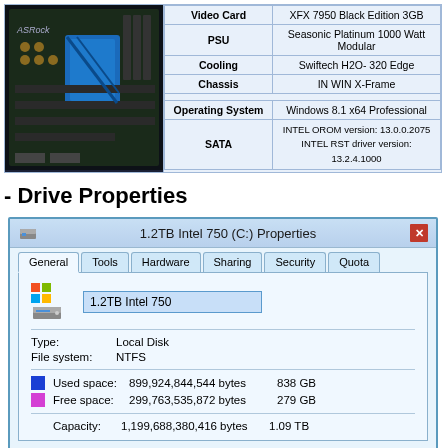| Component | Specification |
| --- | --- |
| Video Card | XFX 7950 Black Edition 3GB |
| PSU | Seasonic Platinum 1000 Watt Modular |
| Cooling | Swiftech H2O- 320 Edge |
| Chassis | IN WIN X-Frame |
| Operating System | Windows 8.1 x64 Professional |
| SATA | INTEL OROM version: 13.0.0.2075
INTEL RST driver version: 13.2.4.1000 |
- Drive Properties
[Figure (screenshot): Windows 8.1 drive properties dialog for 1.2TB Intel 750 (C:) showing General tab with Type: Local Disk, File system: NTFS, Used space: 899,924,844,544 bytes / 838 GB, Free space: 299,763,535,872 bytes / 279 GB, Capacity: 1,199,688,380,416 bytes / 1.09 TB]